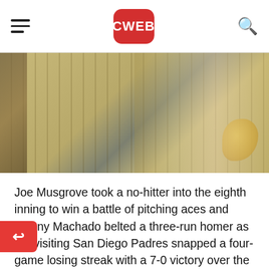CWEB
[Figure (photo): Close-up photo of baseball players in pinstripe uniforms, one player with a gold batting glove visible on the right side, crowd blurred in background]
Joe Musgrove took a no-hitter into the eighth inning to win a battle of pitching aces and Manny Machado belted a three-run homer as the visiting San Diego Padres snapped a four-game losing streak with a 7-0 victory over the Milwaukee Brewers on Friday night.
Musgrove, who last season tossed the only no-ter in Padres history, did not allow a hit until ton Wong's two-out double in the eighth. He got